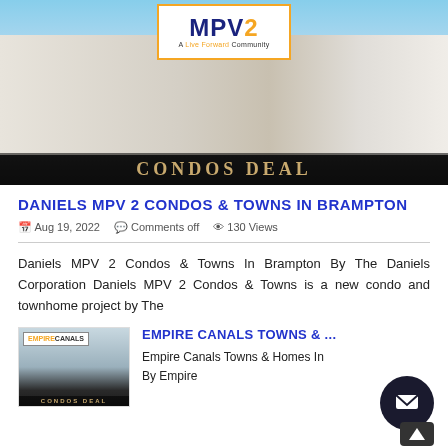[Figure (photo): Hero image of Daniels MPV 2 condo towers with MPV2 logo overlay and CONDOS DEAL banner]
DANIELS MPV 2 CONDOS & TOWNS IN BRAMPTON
Aug 19, 2022   Comments off   130 Views
Daniels MPV 2 Condos & Towns In Brampton By The Daniels Corporation Daniels MPV 2 Condos & Towns is a new condo and townhome project by The
[Figure (photo): Thumbnail of Empire Canals Towns with logo and CONDOS DEAL banner]
EMPIRE CANALS TOWNS & ...
Empire Canals Towns & Homes In By Empire